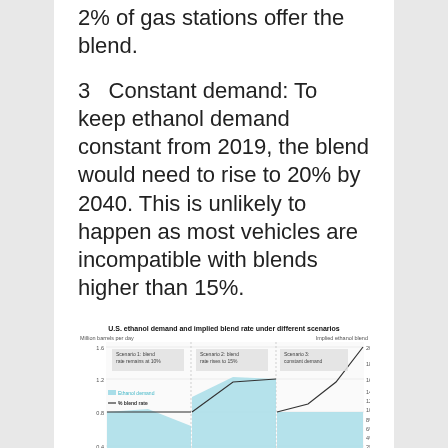2% of gas stations offer the blend.
3  Constant demand: To keep ethanol demand constant from 2019, the blend would need to rise to 20% by 2040. This is unlikely to happen as most vehicles are incompatible with blends higher than 15%.
[Figure (line-chart): Three-scenario area/line chart showing U.S. ethanol demand (million barrels per day, left axis) and implied ethanol blend rate (right axis, %) from approximately 2019 to 2040. Scenario 1: blend rate remains at 10%. Scenario 2: blend rate rises to 15%. Scenario 3: constant demand (blend rate rises to ~20%). Light blue shaded area shows ethanol demand; dark line shows % blend rate.]